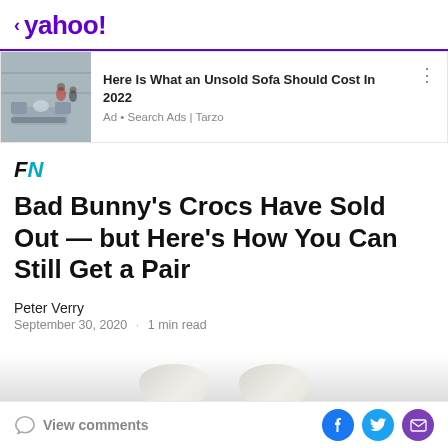< yahoo!
[Figure (screenshot): Advertisement banner showing a sofa store image with text 'Here Is What an Unsold Sofa Should Cost In 2022' and source 'Ad • Search Ads | Tarzo']
[Figure (logo): FN logo in black and teal italic bold text]
Bad Bunny's Crocs Have Sold Out — but Here's How You Can Still Get a Pair
Peter Verry
September 30, 2020  ·  1 min read
View comments